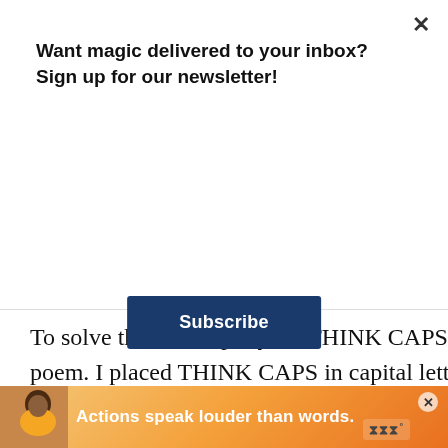Want magic delivered to your inbox?Sign up for our newsletter!
Subscribe
exception of the most ne
To solve the riddle, put your THINK CAPS on Probably the most obvious clue in the entire poem. I placed THINK CAPS in capital letters. You are to think of capital letters to solve the riddle. I stated that the answers could come from throughout the File. Looking at the first paragraph of the File, the capital letters are M S, S, S, P, and P, in that order. This becomes extremely important if you can put it together wi...
[Figure (infographic): Bottom advertisement banner with person illustration and text 'Actions speak louder than words.' with logo on right]
2
Actions speak louder than words.